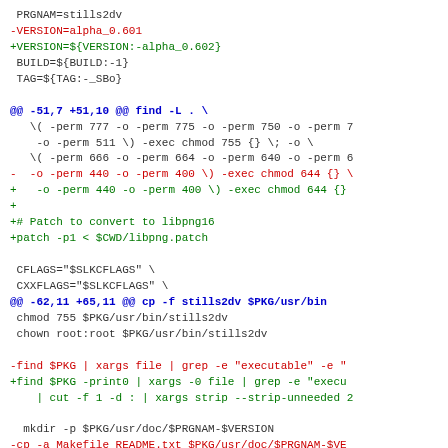Diff/patch code snippet showing version bump and script changes for stills2dv SlackBuild